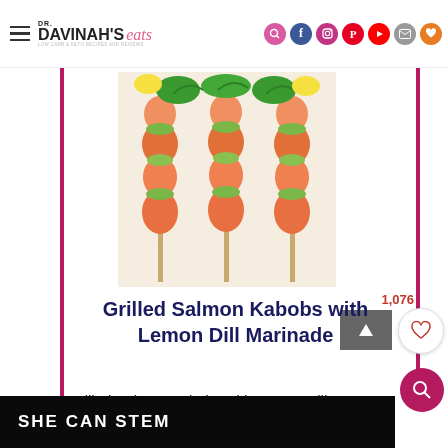DR. DAVINAH'S eats
[Figure (photo): Three grilled salmon kabobs on skewers with zucchini slices and fresh dill garnish on top, arranged vertically on a white background]
Grilled Salmon Kabobs with Lemon Dill Marinade
Grilled Salmon Kabobs with Lemon Dill
SHE CAN STEM